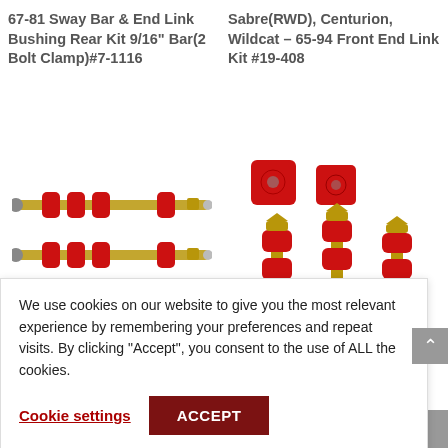67-81 Sway Bar & End Link Bushing Rear Kit 9/16" Bar(2 Bolt Clamp)#7-1116
Sabre(RWD), Centurion, Wildcat – 65-94 Front End Link Kit #19-408
[Figure (photo): Red polyurethane sway bar end link bushings with gold threaded rods, two parallel assemblies shown horizontally]
[Figure (photo): Red polyurethane end link bushing kit components including square block bushings and cylindrical barrel bushings with gold hardware bolts]
We use cookies on our website to give you the most relevant experience by remembering your preferences and repeat visits. By clicking “Accept”, you consent to the use of ALL the cookies.
Cookie settings
ACCEPT
& END LINK
ntegra RSX 86-89 Sway ing & End Link